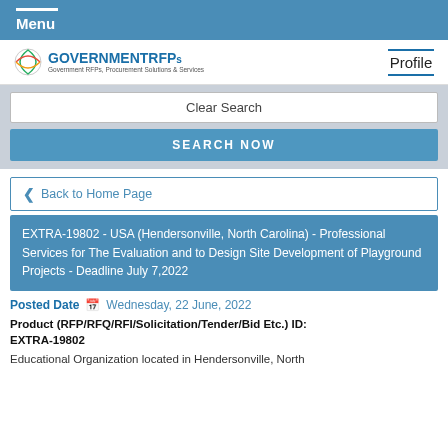Menu
[Figure (logo): GOVERNMENTRFPs logo with tagline: Government RFPs, Procurement Solutions & Services]
Profile
Clear Search
SEARCH NOW
Back to Home Page
EXTRA-19802 - USA (Hendersonville, North Carolina) - Professional Services for The Evaluation and to Design Site Development of Playground Projects - Deadline July 7,2022
Posted Date  Wednesday, 22 June, 2022
Product (RFP/RFQ/RFI/Solicitation/Tender/Bid Etc.) ID: EXTRA-19802
Educational Organization located in Hendersonville, North